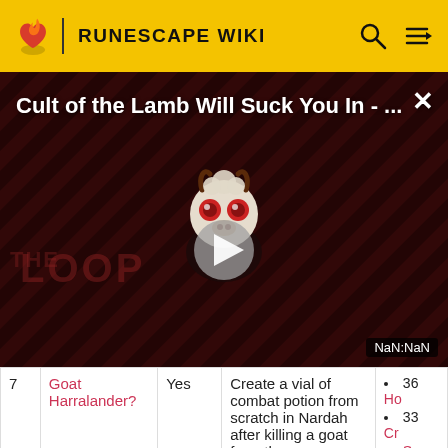RUNESCAPE WIKI
[Figure (screenshot): Video overlay thumbnail for 'Cult of the Lamb Will Suck You In - ...' with a play button in the center, diagonal striped dark red background, a stylized goat/lamb character with red eyes, 'THE LOOP' watermark logo, and a NaN:NaN time label in the bottom right corner. A close (×) button is in the top right.]
| 7 | Goat Harralander? | Yes | Create a vial of combat potion from scratch in Nardah after killing a goat from the | • 36... Ho... • 33... Cr... • Sp... th... |